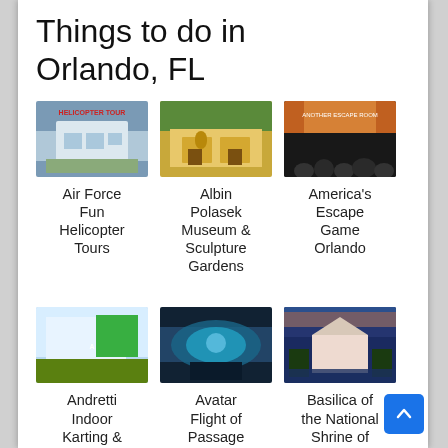Things to do in Orlando, FL
[Figure (photo): Air Force Fun Helicopter Tours building exterior]
Air Force Fun Helicopter Tours
[Figure (photo): Albin Polasek Museum & Sculpture Gardens exterior]
Albin Polasek Museum & Sculpture Gardens
[Figure (photo): America's Escape Game Orlando interior with crowd]
America's Escape Game Orlando
[Figure (photo): Andretti Indoor Karting & Games Orlando exterior]
Andretti Indoor Karting & Games Orlando
[Figure (photo): Avatar Flight of Passage interior]
Avatar Flight of Passage
[Figure (photo): Basilica of the National Shrine of Mary, Queen of the Universe exterior at dusk]
Basilica of the National Shrine of Mary, Queen of the Universe